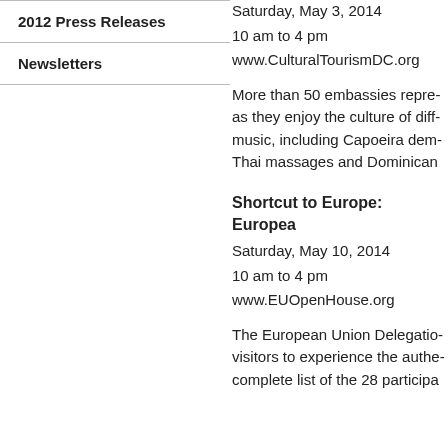2012 Press Releases
Newsletters
Saturday, May 3, 2014
10 am to 4 pm
www.CulturalTourismDC.org
More than 50 embassies repre... as they enjoy the culture of diff... music, including Capoeira dem... Thai massages and Dominicam...
Shortcut to Europe: Europea...
Saturday, May 10, 2014
10 am to 4 pm
www.EUOpenHouse.org
The European Union Delegatio... visitors to experience the authe... complete list of the 28 participa...